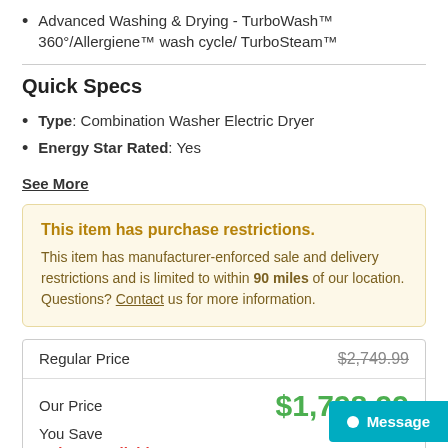Advanced Washing & Drying - TurboWash™ 360°/Allergiene™ wash cycle/ TurboSteam™
Quick Specs
Type: Combination Washer Electric Dryer
Energy Star Rated: Yes
See More
This item has purchase restrictions. This item has manufacturer-enforced sale and delivery restrictions and is limited to within 90 miles of our location. Questions? Contact us for more information.
| Label | Value |
| --- | --- |
| Regular Price | $2,749.99 |
| Our Price | $1,798.99 |
| You Save |  |
| Rebate Available | See Details |